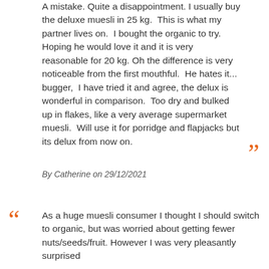A mistake. Quite a disappointment. I usually buy the deluxe muesli in 25 kg. This is what my partner lives on. I bought the organic to try. Hoping he would love it and it is very reasonable for 20 kg. Oh the difference is very noticeable from the first mouthful. He hates it... bugger, I have tried it and agree, the delux is wonderful in comparison. Too dry and bulked up in flakes, like a very average supermarket muesli. Will use it for porridge and flapjacks but its delux from now on.
By Catherine on 29/12/2021
As a huge muesli consumer I thought I should switch to organic, but was worried about getting fewer nuts/seeds/fruit. However I was very pleasantly surprised